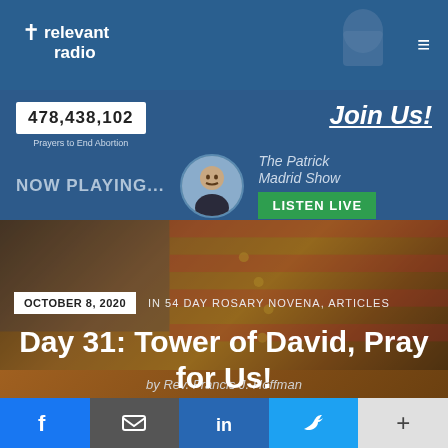relevant radio — navigation header with hamburger menu
478,438,102
Prayers to End Abortion
Join Us!
NOW PLAYING... The Patrick Madrid Show LISTEN LIVE
OCTOBER 8, 2020  IN 54 DAY ROSARY NOVENA, ARTICLES
Day 31: Tower of David, Pray for Us!
by Rev. Francis J. Hoffman
Facebook | Email | LinkedIn | Twitter | More